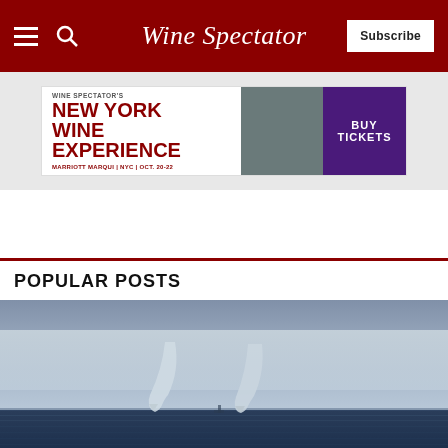Wine Spectator
[Figure (infographic): Wine Spectator's New York Wine Experience advertisement banner. Text: WINE SPECTATOR'S NEW YORK WINE EXPERIENCE MARRIOTT MARQUI | NYC | OCT. 20-22. Right side has photo of attendees and BUY TICKETS button on purple background.]
POPULAR POSTS
[Figure (photo): Aerial or distant ocean view showing two waterspout tornadoes over open blue sea water, under a hazy grey-blue sky.]